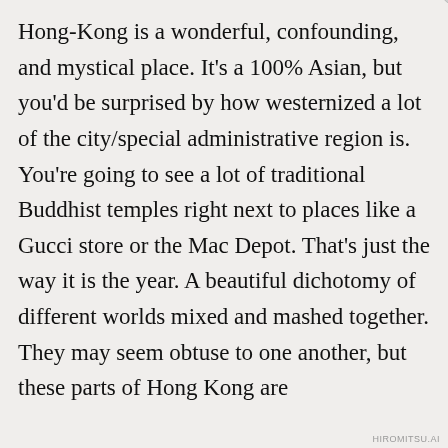Hong-Kong is a wonderful, confounding, and mystical place. It's a 100% Asian, but you'd be surprised by how westernized a lot of the city/special administrative region is. You're going to see a lot of traditional Buddhist temples right next to places like a Gucci store or the Mac Depot. That's just the way it is the year. A beautiful dichotomy of different worlds mixed and mashed together. They may seem obtuse to one another, but these parts of Hong Kong are
Privacy & Cookies: This site uses cookies. By continuing to use this website, you agree to their use.
To find out more, including how to control cookies, see here: Cookie Policy
Close and accept